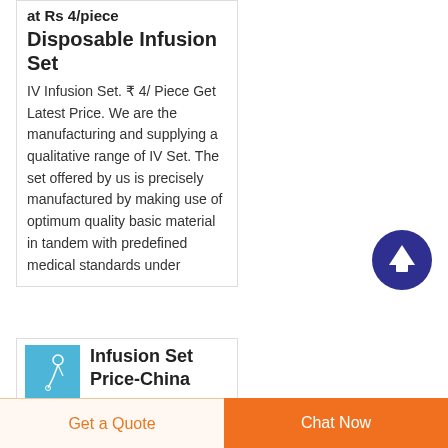at Rs 4/piece Disposable Infusion Set
IV Infusion Set. ₹ 4/ Piece Get Latest Price. We are the manufacturing and supplying a qualitative range of IV Set. The set offered by us is precisely manufactured by making use of optimum quality basic material in tandem with predefined medical standards under
[Figure (illustration): Scroll to top circular button with upward arrow, dark blue/indigo background]
[Figure (photo): Thumbnail image of infusion set on blue background]
Infusion Set Price-China
Get a Quote
Chat Now